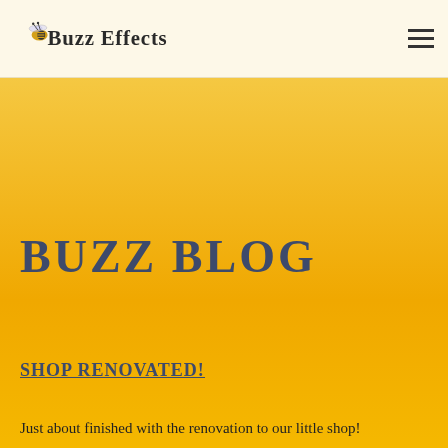[Figure (logo): Buzz Effects logo with illustrated bee and stylized text 'Buzz Effects']
BUZZ BLOG
SHOP RENOVATED!
Just about finished with the renovation to our little shop!